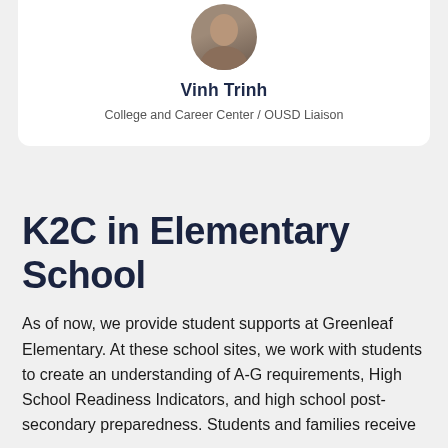[Figure (photo): Circular profile photo of Vinh Trinh, partially cropped at top]
Vinh Trinh
College and Career Center / OUSD Liaison
K2C in Elementary School
As of now, we provide student supports at Greenleaf Elementary. At these school sites, we work with students to create an understanding of A-G requirements, High School Readiness Indicators, and high school post-secondary preparedness. Students and families receive